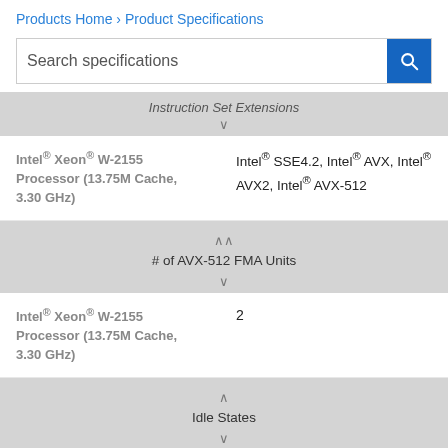Products Home › Product Specifications
Search specifications
Instruction Set Extensions
| Processor | Instruction Set Extensions |
| --- | --- |
| Intel® Xeon® W-2155 Processor (13.75M Cache, 3.30 GHz) | Intel® SSE4.2, Intel® AVX, Intel® AVX2, Intel® AVX-512 |
# of AVX-512 FMA Units
| Processor | # of AVX-512 FMA Units |
| --- | --- |
| Intel® Xeon® W-2155 Processor (13.75M Cache, 3.30 GHz) | 2 |
Idle States
| Processor | Idle States |
| --- | --- |
| Intel® Xeon® W-2155 | Yes |